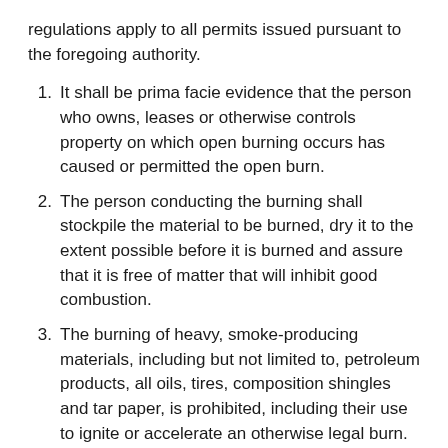regulations apply to all permits issued pursuant to the foregoing authority.
It shall be prima facie evidence that the person who owns, leases or otherwise controls property on which open burning occurs has caused or permitted the open burn.
The person conducting the burning shall stockpile the material to be burned, dry it to the extent possible before it is burned and assure that it is free of matter that will inhibit good combustion.
The burning of heavy, smoke-producing materials, including but not limited to, petroleum products, all oils, tires, composition shingles and tar paper, is prohibited, including their use to ignite or accelerate an otherwise legal burn.